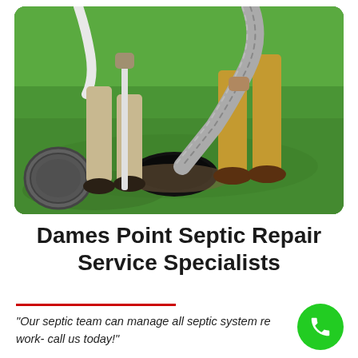[Figure (photo): Two workers in khaki/tan pants pumping a septic tank on a green lawn. One worker holds a white rod near the open septic tank hole, another holds a large corrugated grey hose. A septic tank lid is visible at lower left.]
Dames Point Septic Repair Service Specialists
"Our septic team can manage all septic system repair work- call us today!"